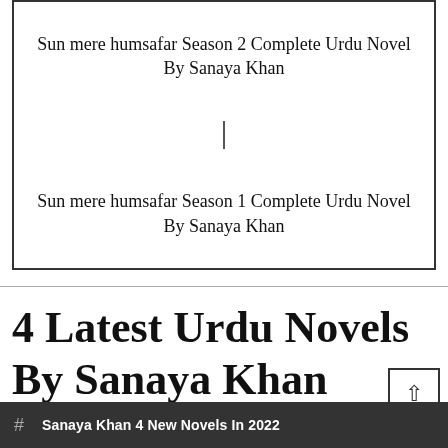Sun mere humsafar Season 2 Complete Urdu Novel By Sanaya Khan
Sun mere humsafar Season 1 Complete Urdu Novel By Sanaya Khan
4 Latest Urdu Novels By Sanaya Khan
# Sanaya Khan 4 New Novels In 2022